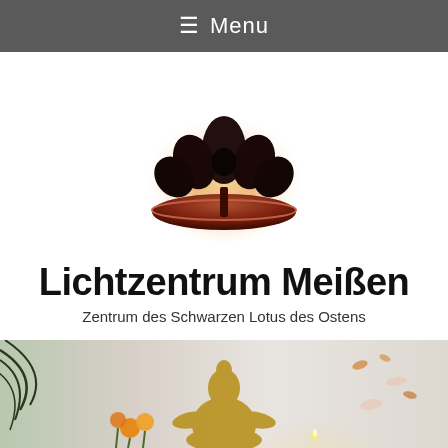☰ Menu
[Figure (logo): Lotus flower logo with dark silhouette petals and a warm orange/gold glowing background, sitting on a dark red bowl-shaped base, white background]
Lichtzentrum Meißen
Zentrum des Schwarzen Lotus des Ostens
[Figure (photo): Wide banner photo showing a golden Buddha statue silhouette in meditation pose, surrounded by orange flowers, palm fronds on the left, floating lotus flowers on the right, warm ambient candlelight, soft grey background]